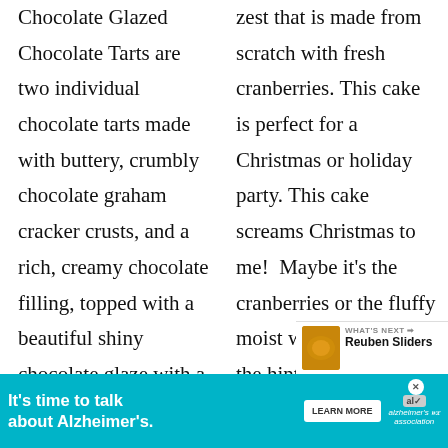Chocolate Glazed Chocolate Tarts are two individual chocolate tarts made with buttery, crumbly chocolate graham cracker crusts, and a rich, creamy chocolate filling, topped with a beautiful shiny chocolate glaze with a mirror-like finish. It is pure chocolate heaven a[nd...]
[...] zest that is made from scratch with fresh cranberries. This cake is perfect for a Christmas or holiday party. This cake screams Christmas to me!  Maybe it's the cranberries or the fluffy moist white cake with the hint of orange flavor....
[Figure (other): Alzheimer's awareness advertisement banner at the bottom of the page with teal background reading 'It's time to talk about Alzheimer's.' with a Learn More button and the Alzheimer's Association logo.]